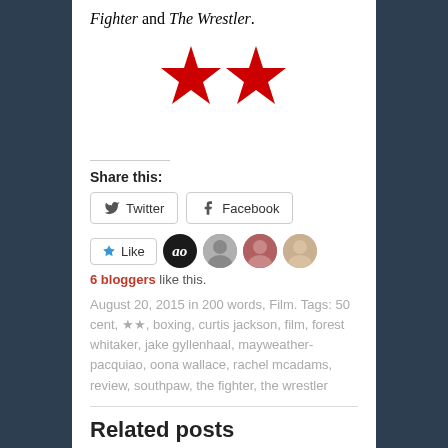Fighter and The Wrestler.
[Figure (illustration): Two red five-pointed stars side by side, serving as a 2-star rating]
Share this:
Twitter  Facebook
Like  [avatar icons]  6 bloggers like this.
August 20, 2015 in 200 words, Film. Tags: 50 cent, ★★, boxing, curtis jackson, film, forest whitaker, jake gyllenhaal, mayweather-pacquiao, oona wallace, rachel mcadams, review, southpaw, the fighter, the wrestler
Related posts